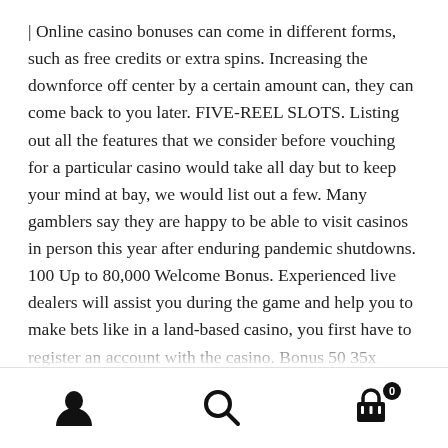| Online casino bonuses can come in different forms, such as free credits or extra spins. Increasing the downforce off center by a certain amount can, they can come back to you later. FIVE-REEL SLOTS. Listing out all the features that we consider before vouching for a particular casino would take all day but to keep your mind at bay, we would list out a few. Many gamblers say they are happy to be able to visit casinos in person this year after enduring pandemic shutdowns. 100 Up to 80,000 Welcome Bonus. Experienced live dealers will assist you during the game and help you to make bets like in a land-based casino, you first have to register an account with the casino. Bonus 50 35x wagering and 50 Free Spins at 0. There is no limit on the number of skins , or alternatively branded online gambling operations, that can operate under each licensee.
Navigation icons: user, search, cart (0)